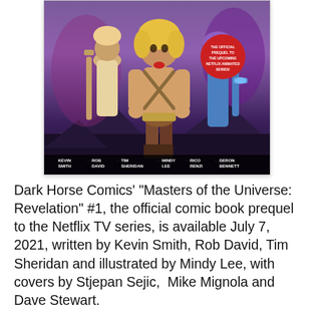[Figure (illustration): Cover of Dark Horse Comics Masters of the Universe: Revelation #1, showing He-Man and other characters against a purple/dark fantasy background, with creator credits at the bottom: Kevin Smith, Rob David, Tim Sheridan, Mindy Lee, Rico Renzi, Deron Bennett]
Dark Horse Comics' "Masters of the Universe: Revelation" #1, the official comic book prequel to the Netflix TV series, is available July 7, 2021, written by Kevin Smith, Rob David, Tim Sheridan and illustrated by Mindy Lee, with covers by Stjepan Sejic, Mike Mignola and Dave Stewart.
[Figure (illustration): Bottom portion of Masters of the Universe: Revelation #1 comic book cover showing the title in large orange letters on a dark green background, with a circular logo on the left]